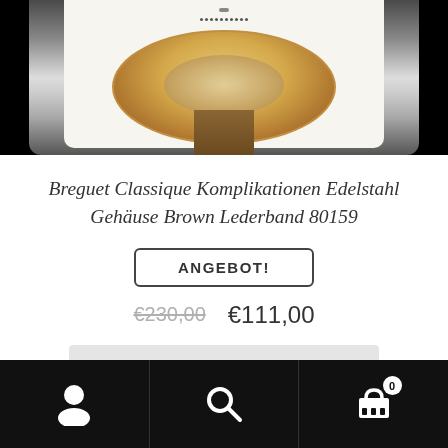[Figure (photo): Close-up top portion of a Breguet watch showing the white/silver watch face and mechanism details against a dark background]
Breguet Classique Komplikationen Edelstahl Gehäuse Brown Lederband 80159
ANGEBOT!
€230,00  €111,00
Ausführung wählen
Navigation bar with user icon, search icon, and cart icon with badge 0